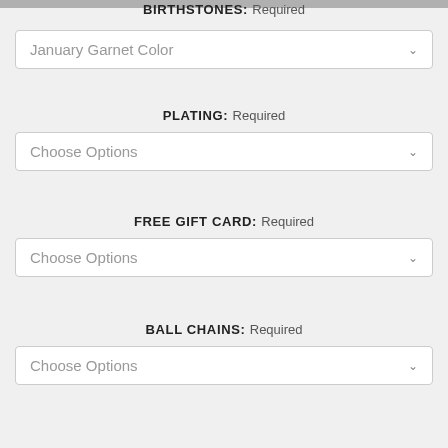BIRTHSTONES: Required
January Garnet Color
PLATING: Required
Choose Options
FREE GIFT CARD: Required
Choose Options
BALL CHAINS: Required
Choose Options